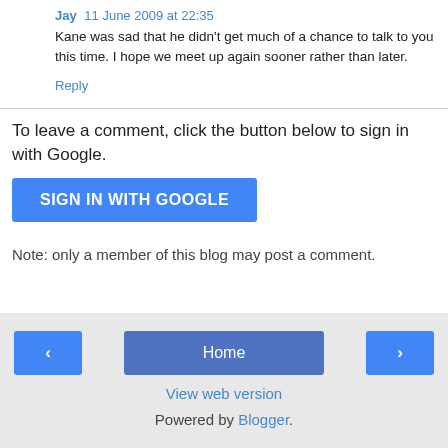Jay  11 June 2009 at 22:35
Kane was sad that he didn't get much of a chance to talk to you this time. I hope we meet up again sooner rather than later.
Reply
To leave a comment, click the button below to sign in with Google.
SIGN IN WITH GOOGLE
Note: only a member of this blog may post a comment.
‹
Home
›
View web version
Powered by Blogger.